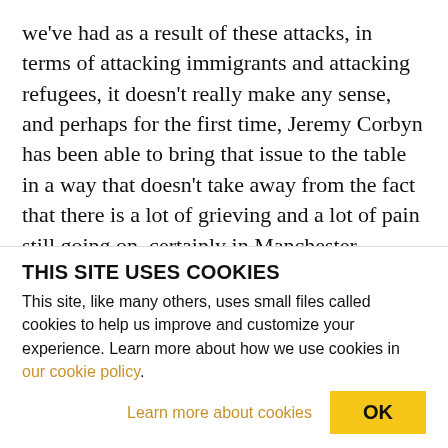we've had as a result of these attacks, in terms of attacking immigrants and attacking refugees, it doesn't really make any sense, and perhaps for the first time, Jeremy Corbyn has been able to bring that issue to the table in a way that doesn't take away from the fact that there is a lot of grieving and a lot of pain still going on, certainly in Manchester. SHARMINI PERIES: Kam, the press, including for example, The Daily Telegraph, have been quite hostile to the position of Jeremy Corbyn, whereas other papers haven't really covered it yet, but in the past,
THIS SITE USES COOKIES
This site, like many others, uses small files called cookies to help us improve and customize your experience. Learn more about how we use cookies in our cookie policy.
Learn more about cookies   OK